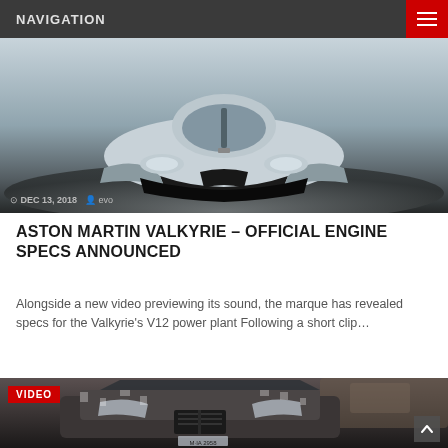NAVIGATION
[Figure (photo): Front view of Aston Martin Valkyrie hypercar in a white studio setting. Date: DEC 13, 2018, author: evo]
ASTON MARTIN VALKYRIE – OFFICIAL ENGINE SPECS ANNOUNCED
Alongside a new video previewing its sound, the marque has revealed specs for the Valkyrie's V12 power plant Following a short clip…
[Figure (photo): Front view of a BMW SUV in camouflage wrap, driving in a rocky outdoor setting. VIDEO badge overlay.]